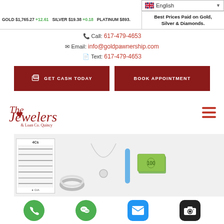English (language selector)
GOLD $1,765.27 +12.61   SILVER $19.38 +0.18   PLATINUM $893.
Best Prices Paid on Gold, Silver & Diamonds.
Call: 617-479-4653
Email: info@goldpawnership.com
Text: 617-479-4653
GET CASH TODAY
BOOK APPOINTMENT
[Figure (logo): The Jewelers & Loan Co. Quincy logo in red script font]
[Figure (photo): Collage of jewelry items: 4Cs diamond grading chart with GIA logo, diamond ring, necklace with pendant, blue gemstone earrings, and rolled US $100 bills]
[Figure (other): Bottom navigation icons: green phone, green WeChat, blue mail, dark camera]